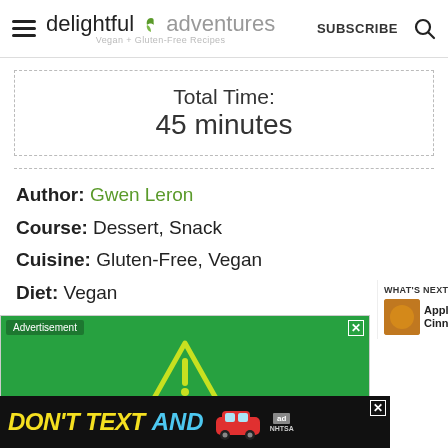delightful adventures – Vegan + Gluten-Free Recipes | SUBSCRIBE
Total Time: 45 minutes
Author: Gwen Leron
Course: Dessert, Snack
Cuisine: Gluten-Free, Vegan
Diet: Vegan
Servings: 5
[Figure (other): Green advertisement banner with warning triangle and exclamation mark icon]
[Figure (other): DON'T TEXT AND drive public safety advertisement banner with red car illustration]